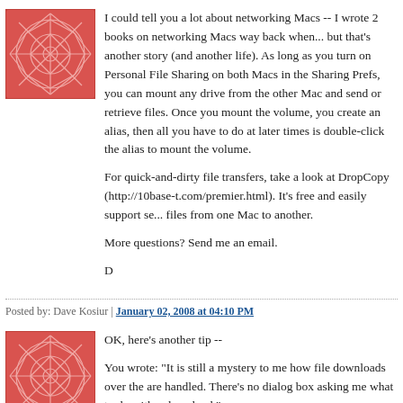[Figure (illustration): Red and white geometric/network pattern avatar icon]
I could tell you a lot about networking Macs -- I wrote 2 books on networking Macs way back when... but that's another story (and another life). As long as you turn on Personal File Sharing on both Macs in the Sharing Prefs, you can mount any drive from the other Mac and send or retrieve files. Once you mount the volume, you create an alias, then all you have to do at later times is double-click the alias to mount the volume.
For quick-and-dirty file transfers, take a look at DropCopy (http://10base-t.com/premier.html). It's free and easily support sending files from one Mac to another.
More questions? Send me an email.
D
Posted by: Dave Kosiur | January 02, 2008 at 04:10 PM
[Figure (illustration): Red and white geometric/network pattern avatar icon]
OK, here's another tip --
You wrote: "It is still a mystery to me how file downloads over the are handled. There's no dialog box asking me what to do with a download."